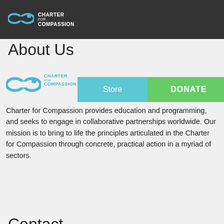[Figure (logo): Charter for Compassion infinity loop logo in teal/blue on dark header bar]
About Us
[Figure (logo): Charter for Compassion infinity loop logo with text in content area, overlaid with Store and DONATE navigation buttons]
Charter for Compassion provides education and programming, and seeks to engage in collaborative partnerships worldwide. Our mission is to bring to life the principles articulated in the Charter for Compassion through concrete, practical action in a myriad of sectors.
Contact
Charter for CompassionPO Box 10787Bainbridge Island, WA 98110
contact@charterforcompassion.org
[Figure (logo): Twitter bird icon in black square]
[Figure (other): Back to top arrow button (chevron up in bordered box)]